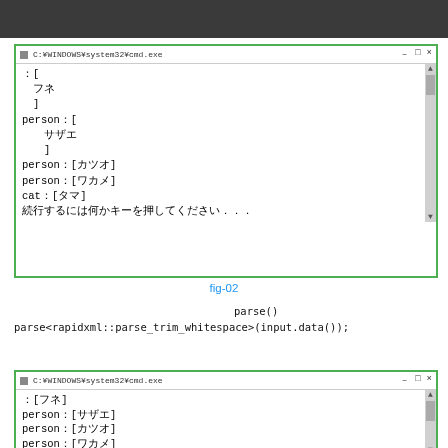[Figure (screenshot): Windows CMD window showing parsed XML output with Japanese characters: フネ, サザエ in brackets with person/cat labels, and a 'press any key' message]
fig-02
（Japanese text）parse()（Japanese text）parse<rapidxml::parse_trim_whitespace>(input.data());（Japanese text）
[Figure (screenshot): Windows CMD window showing trimmed XML parse output: [フネ], person:[サザエ], person:[カツオ], person:[ワカメ]]